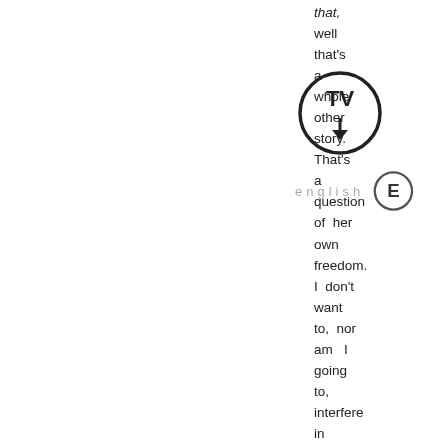[Figure (illustration): Two circular icons: one with a TV/monitor symbol and downward arrow, one with the letter E inside a circle, with the word 'english' in grey spaced letters next to it.]
that, well that's a whole other story. That's a question of her own freedom. I don't want to, nor am I going to, interfere in that.

It is dangerous. You're right. It's risky to do anything concerning